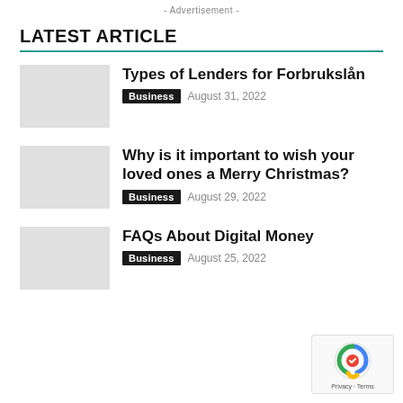- Advertisement -
LATEST ARTICLE
Types of Lenders for Forbrukslån
Business   August 31, 2022
Why is it important to wish your loved ones a Merry Christmas?
Business   August 29, 2022
FAQs About Digital Money
Business   August 25, 2022